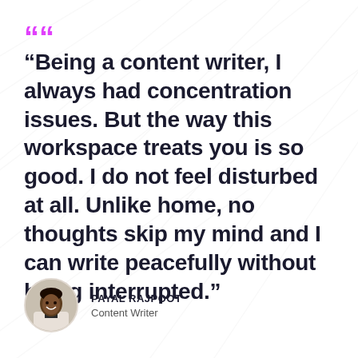“Being a content writer, I always had concentration issues. But the way this workspace treats you is so good. I do not feel disturbed at all. Unlike home, no thoughts skip my mind and I can write peacefully without being interrupted.”
PAYAL RAJPOOT
Content Writer